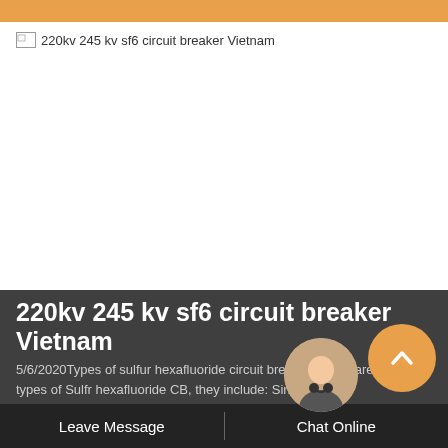[Figure (other): Orange header navigation bar at the top of a webpage]
[Figure (other): Broken image placeholder with alt text '220kv 245 kv sf6 circuit breaker Vietnam']
220kv 245 kv sf6 circuit breaker Vietnam
5/6/2020Types of sulfur hexafluoride circuit breaker. There are three types of Sulfr hexafluoride CB, they include: Single-
[Figure (other): Customer service chat avatar showing a woman with headset, overlaid on bottom bar]
[Figure (other): Orange back-to-top chevron button (rounded circle) in bottom right]
Leave Message   Chat Online